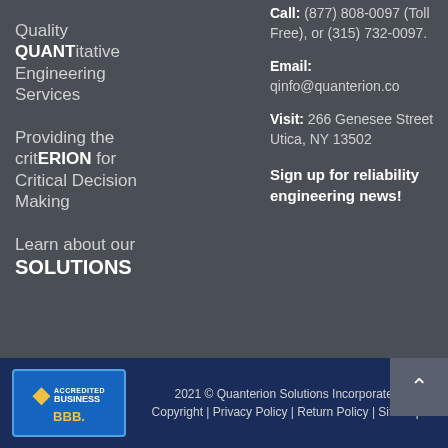Quality QUANTitative Engineering Services
Providing the critERION for Critical Decision Making
Learn about our SOLUTIONS
Call: (877) 808-0097 (Toll Free), or (315) 732-0097.
Email: qinfo@quanterion.co
Visit: 266 Genesee Street Utica, NY 13502
Sign up for reliability engineering news!
[Figure (logo): BBB Accredited Business badge]
2021 © Quanterion Solutions Incorporated
Copyright | Privacy Policy | Return Policy | Sitemap